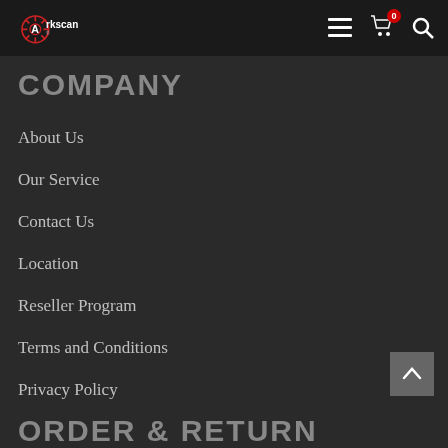[Figure (logo): Arkscan logo with red helm/anchor icon and white text 'Arkscan' with registered trademark symbol]
COMPANY
About Us
Our Service
Contact Us
Location
Reseller Program
Terms and Conditions
Privacy Policy
ORDER & RETURN